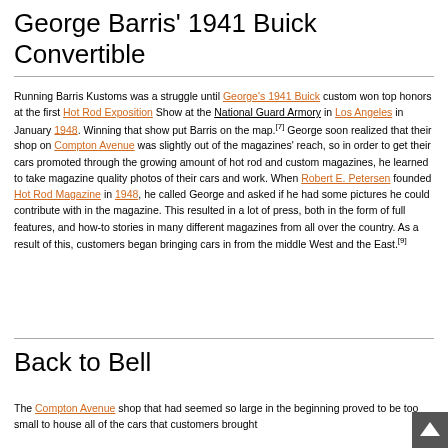George Barris' 1941 Buick Convertible
Running Barris Kustoms was a struggle until George's 1941 Buick custom won top honors at the first Hot Rod Exposition Show at the National Guard Armory in Los Angeles in January 1948. Winning that show put Barris on the map.[7] George soon realized that their shop on Compton Avenue was slightly out of the magazines' reach, so in order to get their cars promoted through the growing amount of hot rod and custom magazines, he learned to take magazine quality photos of their cars and work. When Robert E. Petersen founded Hot Rod Magazine in 1948, he called George and asked if he had some pictures he could contribute with in the magazine. This resulted in a lot of press, both in the form of full features, and how-to stories in many different magazines from all over the country. As a result of this, customers began bringing cars in from the middle West and the East.[9]
Back to Bell
The Compton Avenue shop that had seemed so large in the beginning proved to be too small to house all of the cars that customers brought